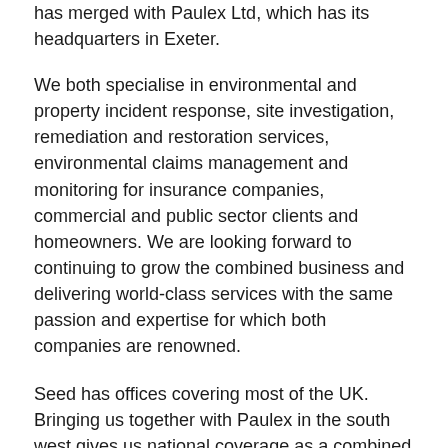has merged with Paulex Ltd, which has its headquarters in Exeter.
We both specialise in environmental and property incident response, site investigation, remediation and restoration services, environmental claims management and monitoring for insurance companies, commercial and public sector clients and homeowners. We are looking forward to continuing to grow the combined business and delivering world-class services with the same passion and expertise for which both companies are renowned.
Seed has offices covering most of the UK. Bringing us together with Paulex in the south west gives us national coverage as a combined company and merges our skill sets for clients of both businesses. This is very much a strategic merger to enable us to improve our service nationwide, strengthen our delivery and broaden our offering.
Seed and Paulex have worked together in the past and the synergy between the two businesses is perfect. Both have